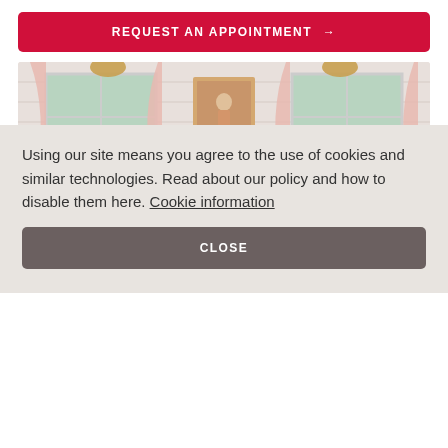REQUEST AN APPOINTMENT →
[Figure (photo): A woman with red hair sitting on a bench at the foot of a bed in a modern rustic bedroom. The room features pink curtains, a yellow bed frame, white shiplap walls, and decorative pendants.]
Modern Rustic by Claudia Baillie
Using our site means you agree to the use of cookies and similar technologies. Read about our policy and how to disable them here. Cookie information
CLOSE